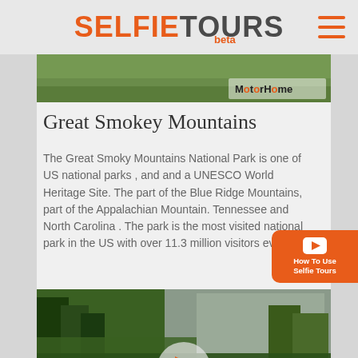SELFIE TOURS beta
[Figure (photo): Partial top image showing green landscape with MotorHome watermark]
Great Smokey Mountains
The Great Smoky Mountains National Park is one of US national parks , and and a UNESCO World Heritage Site. The part of the Blue Ridge Mountains, part of the Appalachian Mountain. Tennessee and North Carolina . The park is the most visited national park in the US with over 11.3 million visitors every.
[Figure (photo): Video thumbnail of a river with boats and forested mountains, play button overlay, MotorHome watermark]